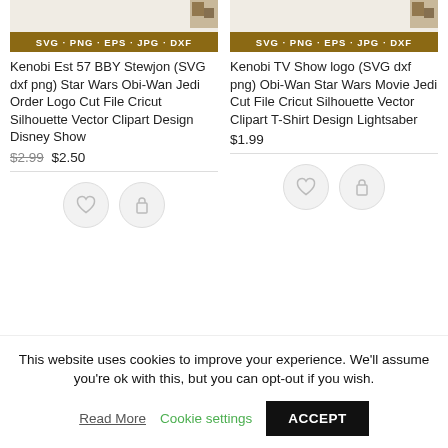[Figure (screenshot): Product listing card for Kenobi Est 57 BBY Stewjon SVG file with brown SVG-PNG-EPS-JPG-DXF banner and small thumbnail image]
Kenobi Est 57 BBY Stewjon (SVG dxf png) Star Wars Obi-Wan Jedi Order Logo Cut File Cricut Silhouette Vector Clipart Design Disney Show
$2.99 $2.50
[Figure (screenshot): Product listing card for Kenobi TV Show logo SVG file with brown SVG-PNG-EPS-JPG-DXF banner and small thumbnail image]
Kenobi TV Show logo (SVG dxf png) Obi-Wan Star Wars Movie Jedi Cut File Cricut Silhouette Vector Clipart T-Shirt Design Lightsaber
$1.99
This website uses cookies to improve your experience. We'll assume you're ok with this, but you can opt-out if you wish.
Read More
Cookie settings
ACCEPT